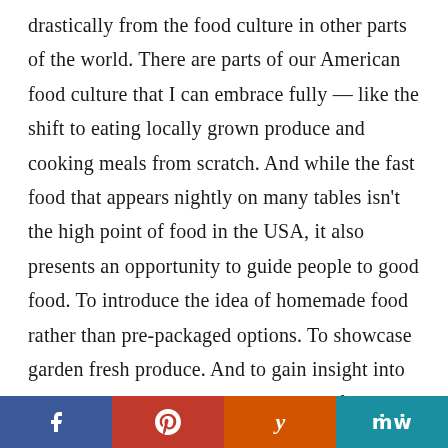drastically from the food culture in other parts of the world. There are parts of our American food culture that I can embrace fully — like the shift to eating locally grown produce and cooking meals from scratch. And while the fast food that appears nightly on many tables isn't the high point of food in the USA, it also presents an opportunity to guide people to good food. To introduce the idea of homemade food rather than pre-packaged options. To showcase garden fresh produce. And to gain insight into what eating looks like in other parts of the world. Through food, we can understand one another and open our hearts, minds, and stomachs to the differences — and similarities — between
[Figure (other): Social sharing bar with four buttons: Facebook (blue), Pinterest (red), Yummly (orange), and MW (teal)]